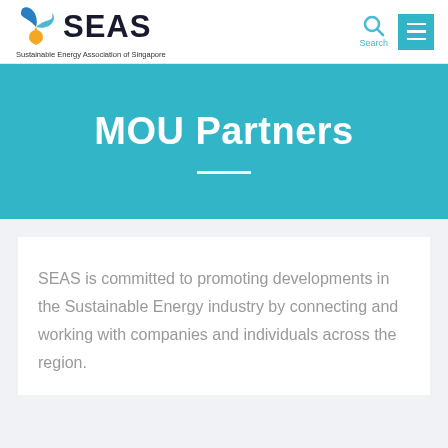SEAS - Sustainable Energy Association of Singapore
MOU Partners
SEAS is committed to promoting developments in the Sustainable Energy industry by connecting and working with companies and individuals across the region.